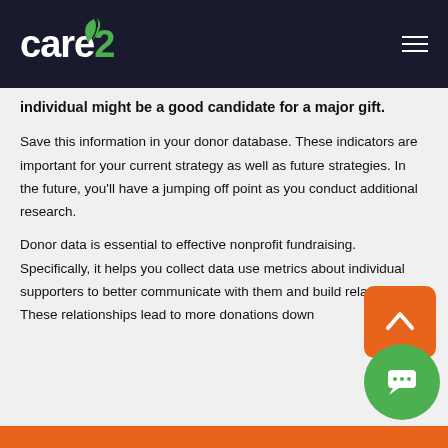care2
individual might be a good candidate for a major gift.
Save this information in your donor database. These indicators are important for your current strategy as well as future strategies. In the future, you'll have a jumping off point as you conduct additional research.
Donor data is essential to effective nonprofit fundraising. Specifically, it helps you collect data use metrics about individual supporters to better communicate with them and build relationships. These relationships lead to more donations down